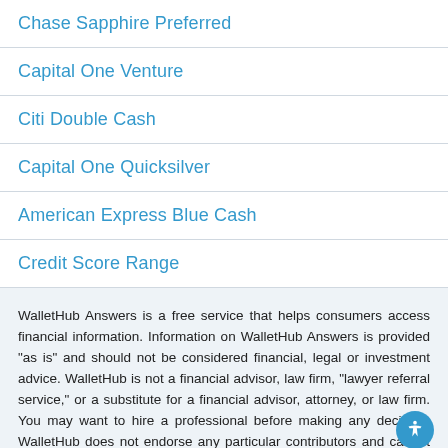Chase Sapphire Preferred
Capital One Venture
Citi Double Cash
Capital One Quicksilver
American Express Blue Cash
Credit Score Range
WalletHub Answers is a free service that helps consumers access financial information. Information on WalletHub Answers is provided “as is” and should not be considered financial, legal or investment advice. WalletHub is not a financial advisor, law firm, “lawyer referral service,” or a substitute for a financial advisor, attorney, or law firm. You may want to hire a professional before making any decision. WalletHub does not endorse any particular contributors and cannot guarantee the quality or reliability of any information posted. The helpfulness of a financial advisor’s answer is not indicative of future
Ask Your Question ›